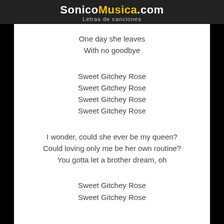SonicoMusica.com — Letras de canciones
One day she leaves
With no goodbye
Sweet Gitchey Rose
Sweet Gitchey Rose
Sweet Gitchey Rose
Sweet Gitchey Rose
I wonder, could she ever be my queen?
Could loving only me be her own routine?
You gotta let a brother dream, oh
Sweet Gitchey Rose
Sweet Gitchey Rose
Sweet Gitchey Rose
Sweet Gitchey Rose
Ahhh, ahhhh, ahh, ahhh